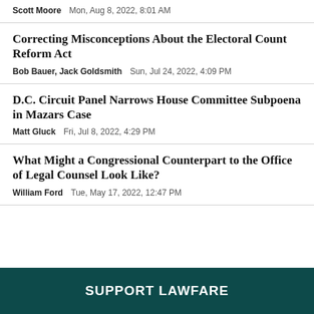Scott Moore   Mon, Aug 8, 2022, 8:01 AM
Correcting Misconceptions About the Electoral Count Reform Act
Bob Bauer, Jack Goldsmith   Sun, Jul 24, 2022, 4:09 PM
D.C. Circuit Panel Narrows House Committee Subpoena in Mazars Case
Matt Gluck   Fri, Jul 8, 2022, 4:29 PM
What Might a Congressional Counterpart to the Office of Legal Counsel Look Like?
William Ford   Tue, May 17, 2022, 12:47 PM
SUPPORT LAWFARE